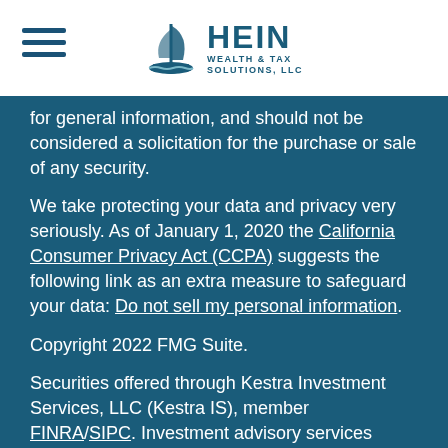[Figure (logo): Hein Wealth & Tax Solutions, LLC logo with ship icon and text]
for general information, and should not be considered a solicitation for the purchase or sale of any security.
We take protecting your data and privacy very seriously. As of January 1, 2020 the California Consumer Privacy Act (CCPA) suggests the following link as an extra measure to safeguard your data: Do not sell my personal information.
Copyright 2022 FMG Suite.
Securities offered through Kestra Investment Services, LLC (Kestra IS), member FINRA/SIPC. Investment advisory services offered through Kestra Advisory Services, LLC (Kestra AS), an affiliate of Kestra IS. Hein Wealth & Tax Solutions LLC. is not affiliated with Kestra IS or Kestra AS. Kestra IS nor it's affiliates and Hein Wealth & Tax Solutions LLC. are not Certified Public